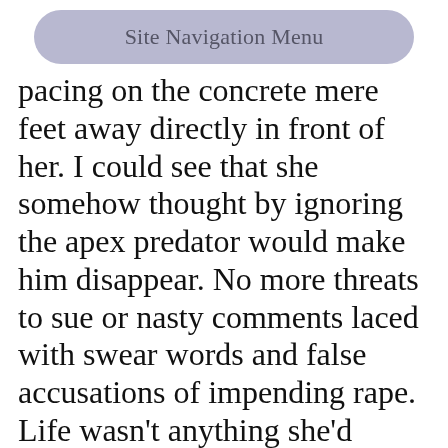[Figure (other): Site Navigation Menu button — rounded rectangle with light purple/blue background and gray text]
pacing on the concrete mere feet away directly in front of her. I could see that she somehow thought by ignoring the apex predator would make him disappear. No more threats to sue or nasty comments laced with swear words and false accusations of impending rape. Life wasn't anything she'd